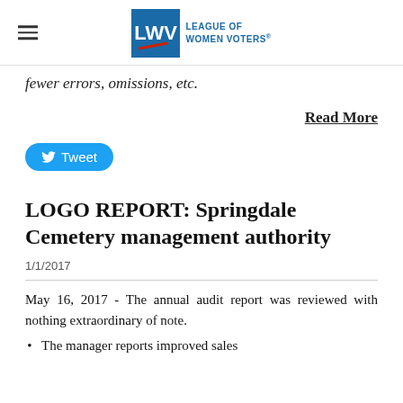League of Women Voters
fewer errors, omissions, etc.
Read More
[Figure (other): Tweet button with Twitter bird icon]
LOGO REPORT: Springdale Cemetery management authority
1/1/2017
May 16, 2017 - The annual audit report was reviewed with nothing extraordinary of note.
The manager reports improved sales